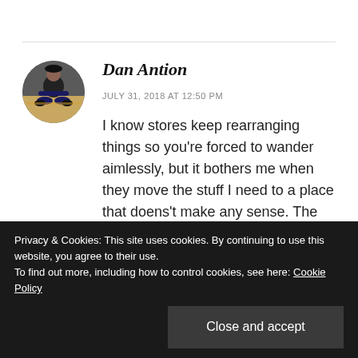[Figure (photo): Circular avatar photo of Dan Antion, a person sitting on the floor]
Dan Antion
JULY 31, 2018 AT 12:50 PM
I know stores keep rearranging things so you're forced to wander aimlessly, but it bothers me when they move the stuff I need to a place that doens't make any sense. The bumper stickers – yeah, I don't get that, especially given the cost of cars
Privacy & Cookies: This site uses cookies. By continuing to use this website, you agree to their use.
To find out more, including how to control cookies, see here: Cookie Policy
Close and accept